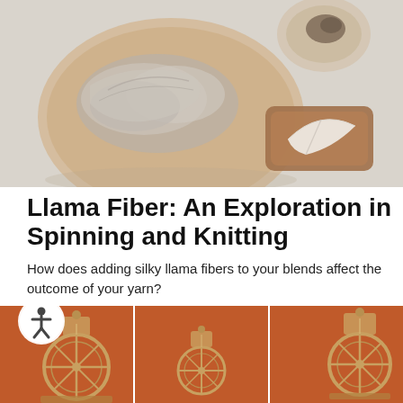[Figure (photo): Top banner photo showing llama fiber/fleece on a wooden plate, with small bowls and a tray containing feathers and fiber samples, on a light grey surface.]
Llama Fiber: An Exploration in Spinning and Knitting
How does adding silky llama fibers to your blends affect the outcome of your yarn?
[Figure (photo): Three side-by-side photos of antique wooden spinning wheels against an orange/terracotta background. The left image also has an accessibility icon overlay.]